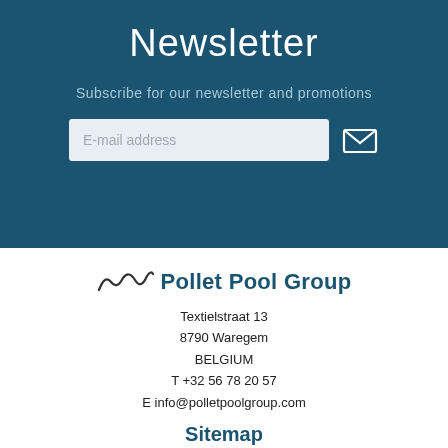Newsletter
Subscribe for our newsletter and promotions
E-mail address
[Figure (logo): Pollet Pool Group logo with stylized wave mark and text]
Textielstraat 13
8790 Waregem
BELGIUM
T +32 56 78 20 57
E info@polletpoolgroup.com
Sitemap